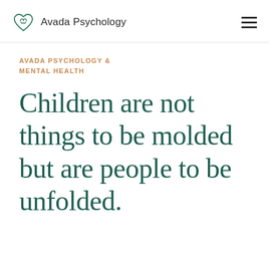Avada Psychology
AVADA PSYCHOLOGY & MENTAL HEALTH
Children are not things to be molded but are people to be unfolded.